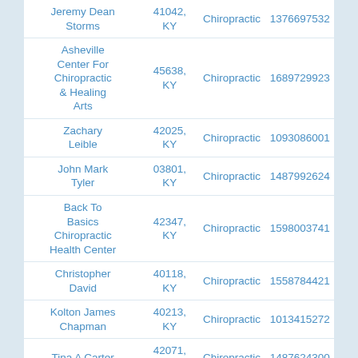| Name | ZIP | Type | NPI |
| --- | --- | --- | --- |
| Jeremy Dean Storms | 41042, KY | Chiropractic | 1376697532 |
| Asheville Center For Chiropractic & Healing Arts | 45638, KY | Chiropractic | 1689729923 |
| Zachary Leible | 42025, KY | Chiropractic | 1093086001 |
| John Mark Tyler | 03801, KY | Chiropractic | 1487992624 |
| Back To Basics Chiropractic Health Center | 42347, KY | Chiropractic | 1598003741 |
| Christopher David | 40118, KY | Chiropractic | 1558784421 |
| Kolton James Chapman | 40213, KY | Chiropractic | 1013415272 |
| Tina A Carter | 42071, KY | Chiropractic | 1487624300 |